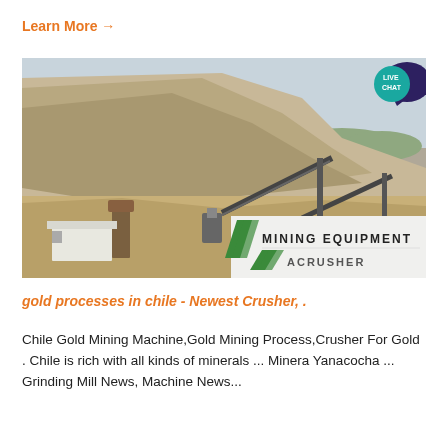Learn More →
[Figure (photo): Open-pit mining site with conveyor belts, crushing equipment, and a steep rocky hillside. A white building/shed is visible at the lower left. A logo overlay in the bottom-right reads 'MINING EQUIPMENT ACRUSHER' with green diagonal stripe marks. A 'LIVE CHAT' speech-bubble badge appears in the top-right corner.]
gold processes in chile - Newest Crusher, .
Chile Gold Mining Machine,Gold Mining Process,Crusher For Gold . Chile is rich with all kinds of minerals ... Minera Yanacocha ... Grinding Mill News, Machine News...